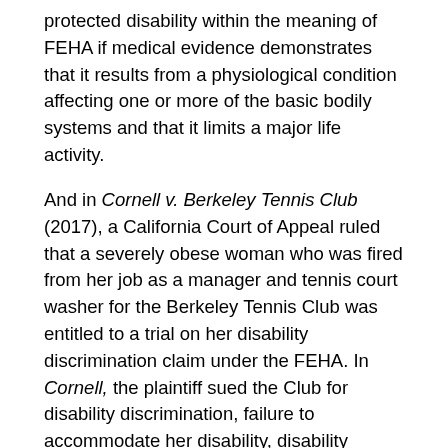protected disability within the meaning of FEHA if medical evidence demonstrates that it results from a physiological condition affecting one or more of the basic bodily systems and that it limits a major life activity.
And in Cornell v. Berkeley Tennis Club (2017), a California Court of Appeal ruled that a severely obese woman who was fired from her job as a manager and tennis court washer for the Berkeley Tennis Club was entitled to a trial on her disability discrimination claim under the FEHA. In Cornell, the plaintiff sued the Club for disability discrimination, failure to accommodate her disability, disability harassment, retaliation, wrongful discharge in violation of public policy, intentional infliction of emotional distress, and defamation. The Court of Appeal held that obesity may have a physiological cause and reinstated Cornell's disability discrimination and harassment claims